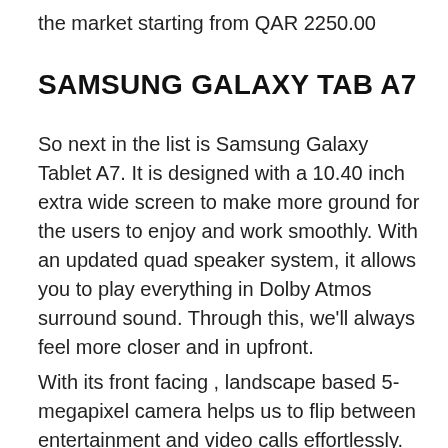the market starting from QAR 2250.00
SAMSUNG GALAXY TAB A7
So next in the list is Samsung Galaxy Tablet A7. It is designed with a 10.40 inch extra wide screen to make more ground for the users to enjoy and work smoothly. With an updated quad speaker system, it allows you to play everything in Dolby Atmos surround sound. Through this, we'll always feel more closer and in upfront.
With its front facing , landscape based 5-megapixel camera helps us to flip between entertainment and video calls effortlessly.